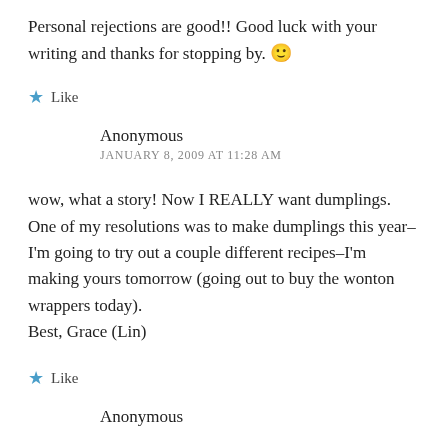Personal rejections are good!! Good luck with your writing and thanks for stopping by. 🙂
★ Like
Anonymous
JANUARY 8, 2009 AT 11:28 AM
wow, what a story! Now I REALLY want dumplings. One of my resolutions was to make dumplings this year–I'm going to try out a couple different recipes–I'm making yours tomorrow (going out to buy the wonton wrappers today).
Best, Grace (Lin)
★ Like
Anonymous